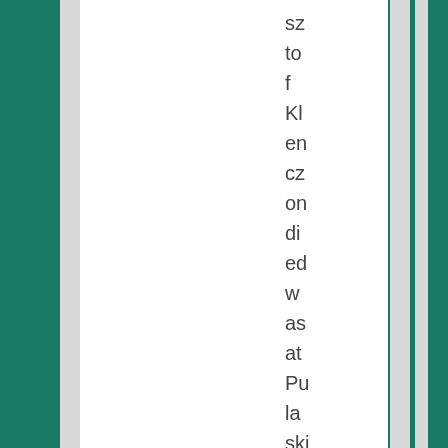sz to f Kl en cz on di ed w as at Pu la ski ro ad , ne ar Vi